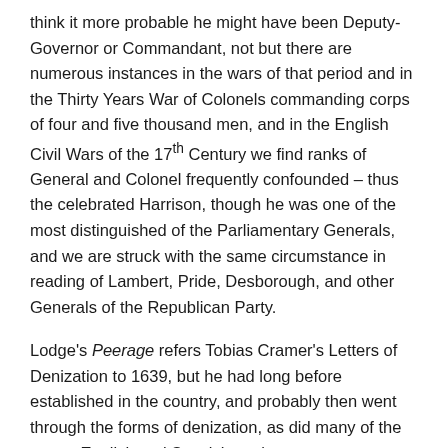think it more probable he might have been Deputy-Governor or Commandant, not but there are numerous instances in the wars of that period and in the Thirty Years War of Colonels commanding corps of four and five thousand men, and in the English Civil Wars of the 17th Century we find ranks of General and Colonel frequently confounded – thus the celebrated Harrison, though he was one of the most distinguished of the Parliamentary Generals, and we are struck with the same circumstance in reading of Lambert, Pride, Desborough, and other Generals of the Republican Party.
Lodge's Peerage refers Tobias Cramer's Letters of Denization to 1639, but he had long before established in the country, and probably then went through the forms of denization, as did many of the recent English and Scottish settlers, to prevent any chicanery of the Government at a future period, contesting their rights of their posterity to landed property acquired by their ancestors, who, according to the strict letter